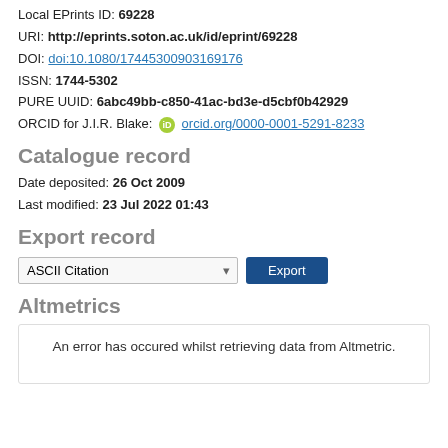Local EPrints ID: 69228
URI: http://eprints.soton.ac.uk/id/eprint/69228
DOI: doi:10.1080/17445300903169176
ISSN: 1744-5302
PURE UUID: 6abc49bb-c850-41ac-bd3e-d5cbf0b42929
ORCID for J.I.R. Blake: orcid.org/0000-0001-5291-8233
Catalogue record
Date deposited: 26 Oct 2009
Last modified: 23 Jul 2022 01:43
Export record
ASCII Citation [Export]
Altmetrics
An error has occured whilst retrieving data from Altmetric.